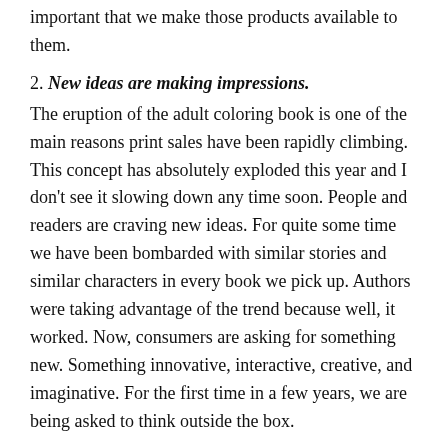important that we make those products available to them.
2. New ideas are making impressions.
The eruption of the adult coloring book is one of the main reasons print sales have been rapidly climbing. This concept has absolutely exploded this year and I don’t see it slowing down any time soon. People and readers are craving new ideas. For quite some time we have been bombarded with similar stories and similar characters in every book we pick up. Authors were taking advantage of the trend because well, it worked. Now, consumers are asking for something new. Something innovative, interactive, creative, and imaginative. For the first time in a few years, we are being asked to think outside the box.
3. Nonfiction readers and children prefer print.
Publishers are finding that certain genres perform better in print than others. Each year we are getting a clearer picture of what works and what doesn’t. As more content becomes available, we have more data to compare it to. Nonfiction, children’s, and